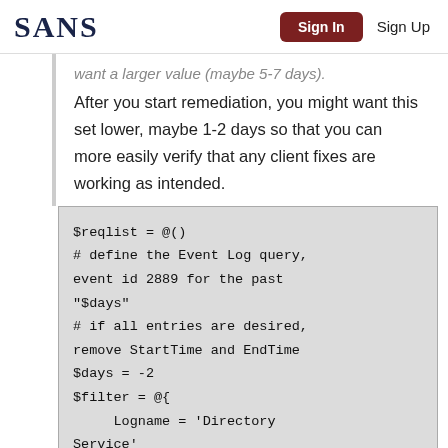SANS | Sign In | Sign Up
want a larger value (maybe 5-7 days).
After you start remediation, you might want this set lower, maybe 1-2 days so that you can more easily verify that any client fixes are working as intended.
[Figure (screenshot): Code block showing PowerShell script with $reqlist = @(), comment defining Event Log query for event id 2889, $days = -2, $filter = @{ Logname = 'Directory Service']